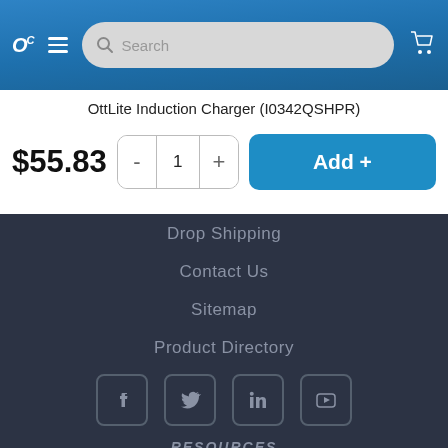OC [logo] — Search bar — Cart icon
OttLite Induction Charger (I0342QSHPR)
$55.83  -  1  +  Add +
Drop Shipping
Contact Us
Sitemap
Product Directory
[Figure (other): Social media icons: Facebook, Twitter, LinkedIn, YouTube]
RESOURCES